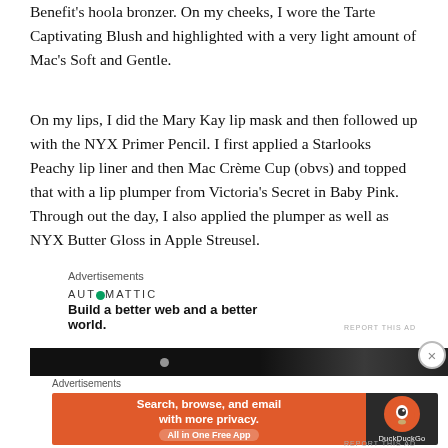Benefit's hoola bronzer. On my cheeks, I wore the Tarte Captivating Blush and highlighted with a very light amount of Mac's Soft and Gentle.
On my lips, I did the Mary Kay lip mask and then followed up with the NYX Primer Pencil. I first applied a Starlooks Peachy lip liner and then Mac Crème Cup (obvs) and topped that with a lip plumper from Victoria's Secret in Baby Pink. Through out the day, I also applied the plumper as well as NYX Butter Gloss in Apple Streusel.
Advertisements
[Figure (infographic): Automattic ad: logo with green O, tagline 'Build a better web and a better world.']
[Figure (photo): Dark/black and white photo, partially visible at bottom of page]
Advertisements
[Figure (infographic): DuckDuckGo advertisement: orange left panel with 'Search, browse, and email with more privacy. All in One Free App', dark right panel with DuckDuckGo logo]